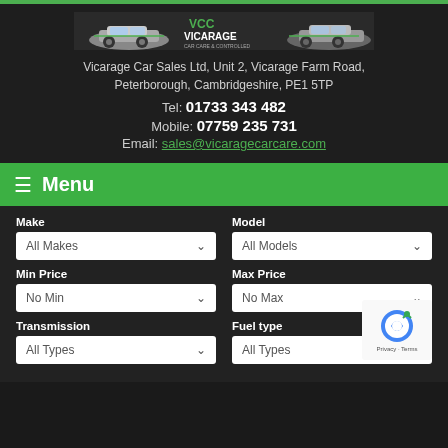[Figure (logo): Vicarage Car Care logo banner with car silhouette and VCC/Vicarage text in green and white]
Vicarage Car Sales Ltd, Unit 2, Vicarage Farm Road, Peterborough, Cambridgeshire, PE1 5TP
Tel: 01733 343 482
Mobile: 07759 235 731
Email: sales@vicaragecarcare.com
≡ Menu
Make
Model
Min Price
Max Price
Transmission
Fuel type